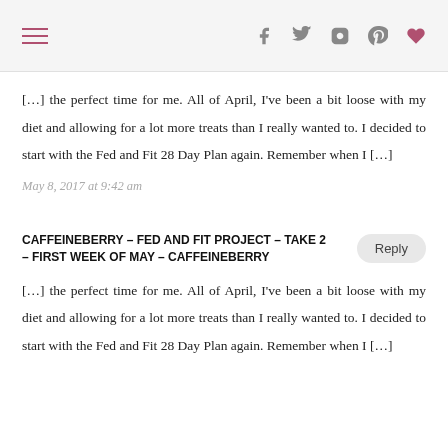[hamburger menu icon] [facebook] [twitter] [instagram] [pinterest] [heart]
[…] the perfect time for me. All of April, I've been a bit loose with my diet and allowing for a lot more treats than I really wanted to. I decided to start with the Fed and Fit 28 Day Plan again. Remember when I […]
May 8, 2017 at 9:42 am
CAFFEINEBERRY – FED AND FIT PROJECT – TAKE 2 – FIRST WEEK OF MAY – CAFFEINEBERRY
Reply
[…] the perfect time for me. All of April, I've been a bit loose with my diet and allowing for a lot more treats than I really wanted to. I decided to start with the Fed and Fit 28 Day Plan again. Remember when I […]